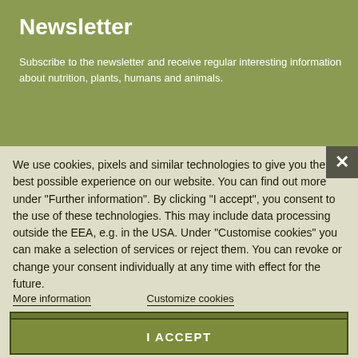Newsletter
Subscribe to the newsletter and receive regular interesting information about nutrition, plants, humans and animals.
We use cookies, pixels and similar technologies to give you the best possible experience on our website. You can find out more under "Further information". By clicking "I accept", you consent to the use of these technologies. This may include data processing outside the EEA, e.g. in the USA. Under "Customise cookies" you can make a selection of services or reject them. You can revoke or change your consent individually at any time with effect for the future.
More information
Customize cookies
REJECT ALL
I ACCEPT